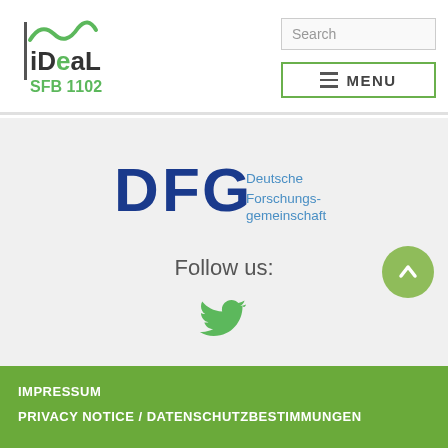[Figure (logo): iDeal SFB 1102 logo with green wave and vertical bar]
Search
≡ MENU
[Figure (logo): DFG Deutsche Forschungsgemeinschaft logo]
Follow us:
[Figure (illustration): Twitter bird icon in green]
IMPRESSUM
PRIVACY NOTICE / DATENSCHUTZBESTIMMUNGEN